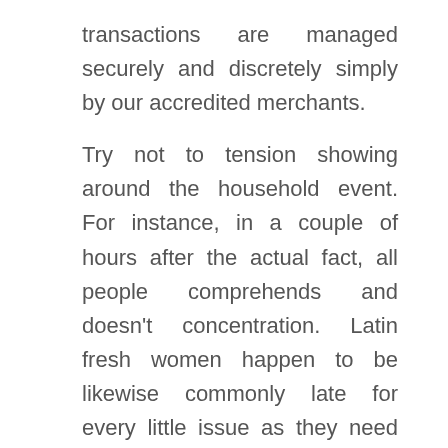transactions are managed securely and discretely simply by our accredited merchants.
Try not to tension showing around the household event. For instance, in a couple of hours after the actual fact, all people comprehends and doesn't concentration. Latin fresh women happen to be likewise commonly late for every little issue as they need time to look great.
The ladies coming from Asia currently have little confronts and slim figures the pure means. This innate gain permits them protect their lively looks right up...